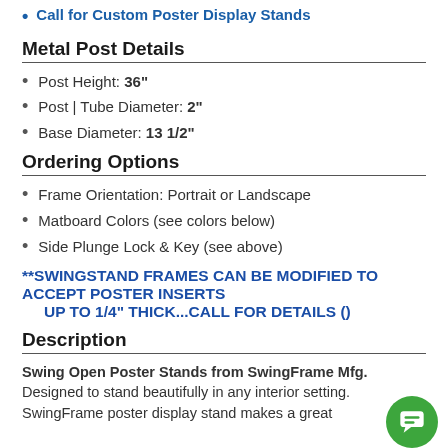Call for Custom Poster Display Stands
Metal Post Details
Post Height: 36"
Post | Tube Diameter: 2"
Base Diameter: 13 1/2"
Ordering Options
Frame Orientation: Portrait or Landscape
Matboard Colors (see colors below)
Side Plunge Lock & Key (see above)
**SWINGSTAND FRAMES CAN BE MODIFIED TO ACCEPT POSTER INSERTS UP TO 1/4" THICK...CALL FOR DETAILS ()
Description
Swing Open Poster Stands from SwingFrame Mfg. Designed to stand beautifully in any interior setting. SwingFrame poster display stand makes a great